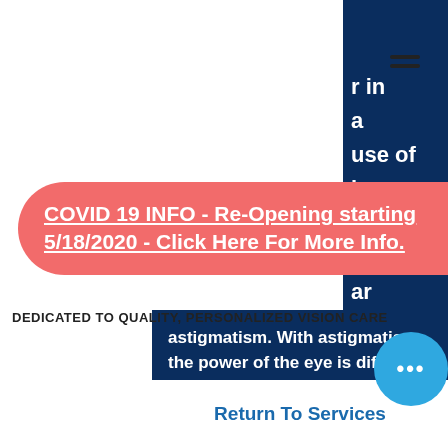[Figure (screenshot): Hamburger menu icon (three horizontal lines)]
[Figure (screenshot): Dark navy right sidebar with partial text: 'r in', 'a', 'use of', 'in', 'e.', 'ed', 'ar']
COVID 19 INFO - Re-Opening starting 5/18/2020 - Click Here For More Info.
DEDICATED TO QUALITY, PERSONALIZED VISION CARE
astigmatism. With astigmatism, the power of the eye is different in one direction compared to other direction, 90 degrees away. An eye with astigmatism may be shaped more oblong, like a football, rather than round, like a basketball.
Return To Services
[Figure (other): Blue circular chat/more options button with three dots]